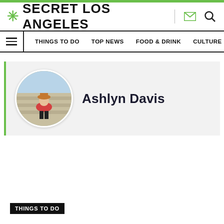SECRET LOS ANGELES
THINGS TO DO   TOP NEWS   FOOD & DRINK   CULTURE
[Figure (photo): Circular profile photo of Ashlyn Davis sitting on steps outdoors]
Ashlyn Davis
THINGS TO DO